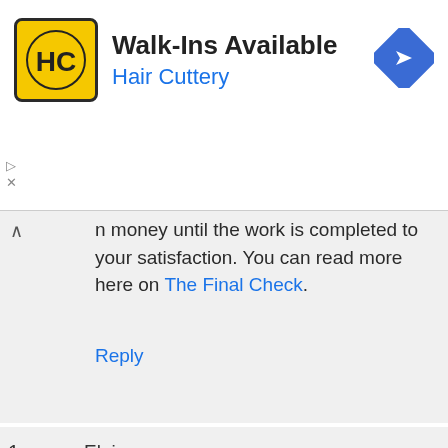[Figure (logo): Hair Cuttery advertisement banner with HC logo, Walk-Ins Available text, and navigation arrow icon]
money until the work is completed to your satisfaction. You can read more here on The Final Check.
Reply
1. Elaine says
January 2, 2017 at 7:39 pm
Should I Pay A Bill Triple the Quoted Price?